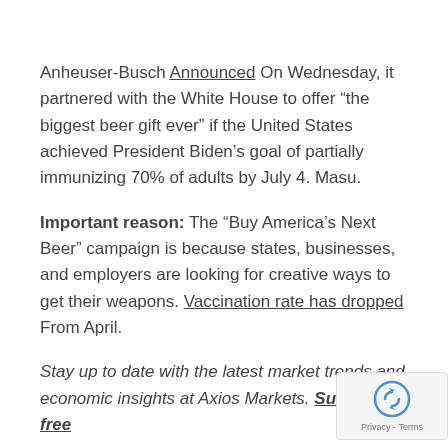Anheuser-Busch Announced On Wednesday, it partnered with the White House to offer “the biggest beer gift ever” if the United States achieved President Biden’s goal of partially immunizing 70% of adults by July 4. Masu.
Important reason: The “Buy America’s Next Beer” campaign is because states, businesses, and employers are looking for creative ways to get their weapons. Vaccination rate has dropped From April.
Stay up to date with the latest market trends and economic insights at Axios Markets. Subscribe free